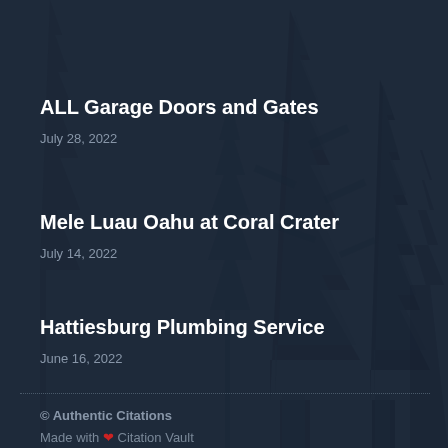ALL Garage Doors and Gates
July 28, 2022
Mele Luau Oahu at Coral Crater
July 14, 2022
Hattiesburg Plumbing Service
June 16, 2022
© Authentic Citations
Made with ❤ Citation Vault